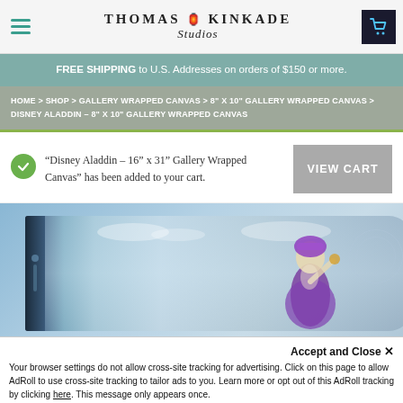Thomas Kinkade Studios
FREE SHIPPING to U.S. Addresses on orders of $150 or more.
HOME > SHOP > GALLERY WRAPPED CANVAS > 8" X 10" GALLERY WRAPPED CANVAS > DISNEY ALADDIN – 8" X 10" GALLERY WRAPPED CANVAS
“Disney Aladdin – 16” x 31” Gallery Wrapped Canvas” has been added to your cart.
[Figure (photo): Gallery wrapped canvas product showing Disney Aladdin artwork on a landscape-oriented wrapped canvas, angled view showing depth of wrap. Character in purple outfit visible on right side.]
Accept and Close ×
Your browser settings do not allow cross-site tracking for advertising. Click on this page to allow AdRoll to use cross-site tracking to tailor ads to you. Learn more or opt out of this AdRoll tracking by clicking here. This message only appears once.